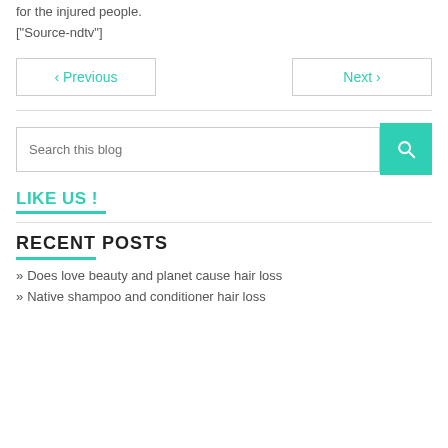for the injured people.
["Source-ndtv"]
‹ Previous
Next ›
Search this blog
LIKE US !
RECENT POSTS
» Does love beauty and planet cause hair loss
» Native shampoo and conditioner hair loss